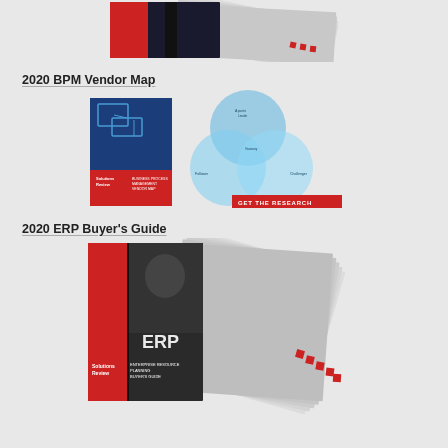[Figure (illustration): Book/report stack illustration for a resource at top of page (partially visible)]
2020 BPM Vendor Map
[Figure (illustration): 2020 BPM Vendor Map report cover with blue cover, red Solutions Review branding, Venn diagram circles, and GET THE RESEARCH red button]
2020 ERP Buyer's Guide
[Figure (illustration): 2020 ERP Buyer's Guide report shown as stacked pages fanning out, with red and dark cover, ERP label, and Solutions Review branding]